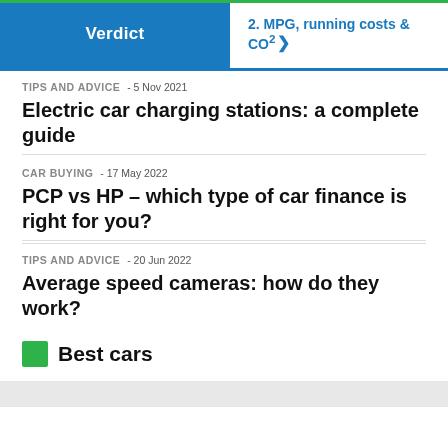Verdict | 2. MPG, running costs & CO2 >
TIPS AND ADVICE  - 5 Nov 2021
Electric car charging stations: a complete guide
CAR BUYING  - 17 May 2022
PCP vs HP – which type of car finance is right for you?
TIPS AND ADVICE  - 20 Jun 2022
Average speed cameras: how do they work?
Best cars